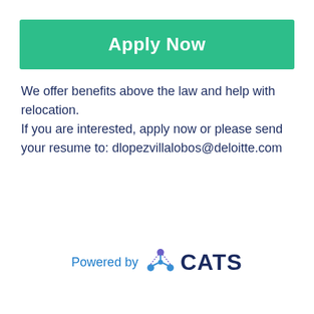Apply Now
We offer benefits above the law and help with relocation.
If you are interested, apply now or please send your resume to: dlopezvillalobos@deloitte.com
[Figure (logo): Powered by CATS logo — CATS applicant tracking system branding with stylized network icon in blue and purple]